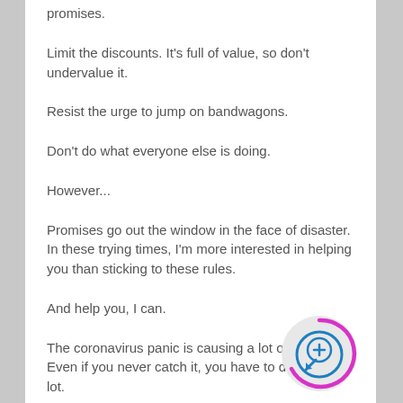promises.
Limit the discounts. It's full of value, so don't undervalue it.
Resist the urge to jump on bandwagons.
Don't do what everyone else is doing.
However...
Promises go out the window in the face of disaster. In these trying times, I'm more interested in helping you than sticking to these rules.
And help you, I can.
The coronavirus panic is causing a lot of problems. Even if you never catch it, you have to deal with a lot.
[Figure (logo): Circular icon with a plus sign and location pin arrow, surrounded by a magenta arc, on a light gray circle background.]